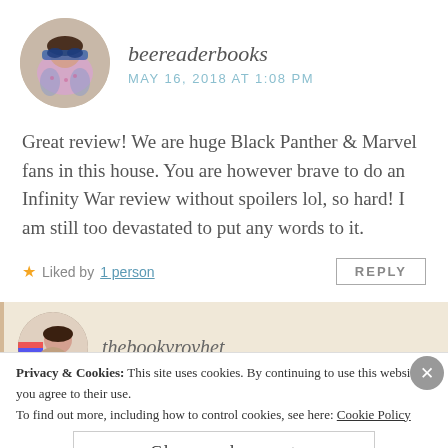[Figure (photo): Circular avatar photo of a woman with sunglasses outdoors]
beereaderbooks
MAY 16, 2018 AT 1:08 PM
Great review! We are huge Black Panther & Marvel fans in this house. You are however brave to do an Infinity War review without spoilers lol, so hard! I am still too devastated to put any words to it.
★ Liked by 1 person
REPLY
[Figure (photo): Circular avatar photo of a person in front of bookshelves]
thebookvrovhet
Privacy & Cookies: This site uses cookies. By continuing to use this website, you agree to their use.
To find out more, including how to control cookies, see here: Cookie Policy
Close and accept